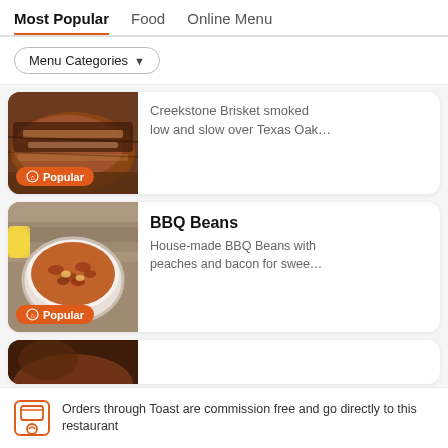Most Popular  Food  Online Menu
Menu Categories
[Figure (photo): Photo of sliced smoked brisket with crust, partially visible at top of page]
Creekstone Brisket smoked low and slow over Texas Oak...
[Figure (photo): Photo of a white bowl of BBQ beans with peaches and bacon on a wooden surface]
BBQ Beans
House-made BBQ Beans with peaches and bacon for swee...
[Figure (photo): Partially visible photo of a third menu item at the bottom of the page]
Orders through Toast are commission free and go directly to this restaurant